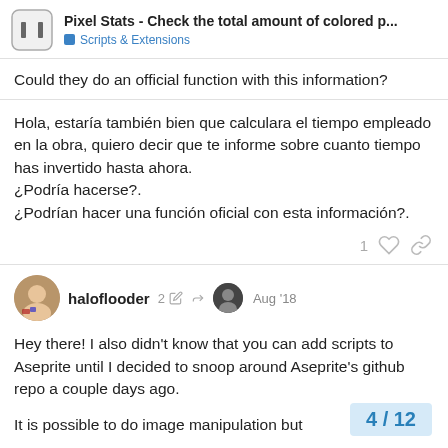Pixel Stats - Check the total amount of colored p... | Scripts & Extensions
Could they do an official function with this information?
Hola, estaría también bien que calculara el tiempo empleado en la obra, quiero decir que te informe sobre cuanto tiempo has invertido hasta ahora.
¿Podría hacerse?.
¿Podrían hacer una función oficial con esta información?.
1
haloflooder  2  Aug '18
Hey there! I also didn't know that you can add scripts to Aseprite until I decided to snoop around Aseprite's github repo a couple days ago.
It is possible to do image manipulation but
4 / 12